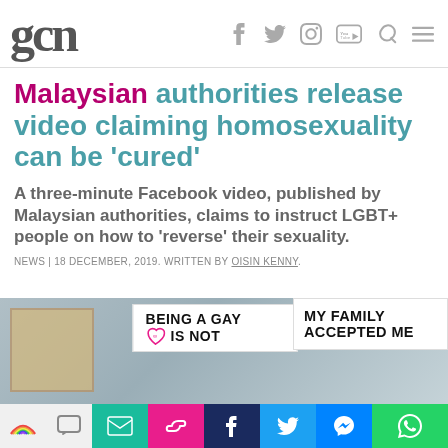gcn
Malaysian authorities release video claiming homosexuality can be 'cured'
A three-minute Facebook video, published by Malaysian authorities, claims to instruct LGBT+ people on how to 'reverse' their sexuality.
NEWS | 18 DECEMBER, 2019. WRITTEN BY OISIN KENNY.
[Figure (photo): Photo of protest signs reading 'BEING A GAY IS NOT' and 'MY FAMILY ACCEPTED ME']